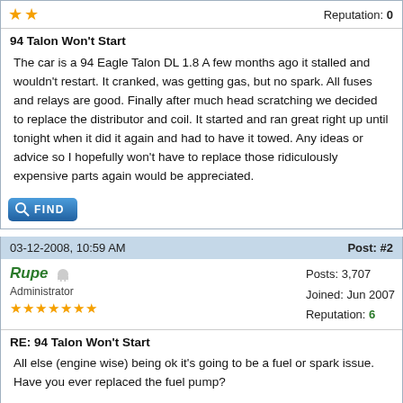Reputation: 0
94 Talon Won't Start
The car is a 94 Eagle Talon DL 1.8 A few months ago it stalled and wouldn't restart. It cranked, was getting gas, but no spark. All fuses and relays are good. Finally after much head scratching we decided to replace the distributor and coil. It started and ran great right up until tonight when it did it again and had to have it towed. Any ideas or advice so I hopefully won't have to replace those ridiculously expensive parts again would be appreciated.
FIND
03-12-2008, 10:59 AM
Post: #2
Rupe
Administrator
Posts: 3,707
Joined: Jun 2007
Reputation: 6
RE: 94 Talon Won't Start
All else (engine wise) being ok it's going to be a fuel or spark issue. Have you ever replaced the fuel pump?

If it's a spark issues again I would look toward a charging system problem or poorly made (read: junky) replacement parts.